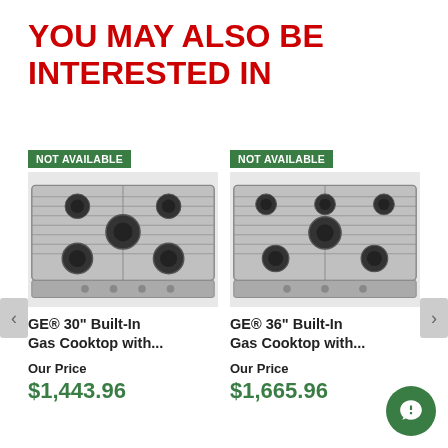YOU MAY ALSO BE INTERESTED IN
[Figure (photo): NOT AVAILABLE badge above GE 30-inch built-in gas cooktop stainless steel product image]
GE® 30" Built-In Gas Cooktop with...
Our Price
$1,443.96
[Figure (photo): NOT AVAILABLE badge above GE 36-inch built-in gas cooktop stainless steel product image]
GE® 36" Built-In Gas Cooktop with...
Our Price
$1,665.96